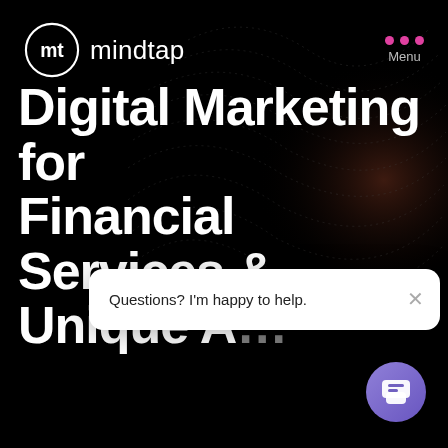[Figure (logo): MindTap logo: white circle with 'mt' monogram icon and 'mindtap' wordmark in white]
Menu
[Figure (illustration): Abstract dark wavy/dotted topographic lines graphic in upper right background]
Digital Marketing for Financial Services & Unique A...
[Figure (screenshot): Chat popup overlay with text 'Questions? I'm happy to help.' and close X button]
[Figure (other): Purple circular chat button in bottom right corner]